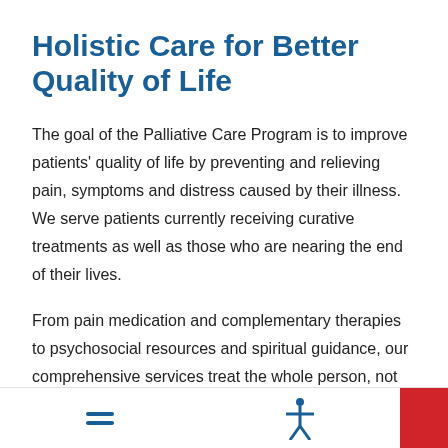Holistic Care for Better Quality of Life
The goal of the Palliative Care Program is to improve patients' quality of life by preventing and relieving pain, symptoms and distress caused by their illness. We serve patients currently receiving curative treatments as well as those who are nearing the end of their lives.
From pain medication and complementary therapies to psychosocial resources and spiritual guidance, our comprehensive services treat the whole person, not